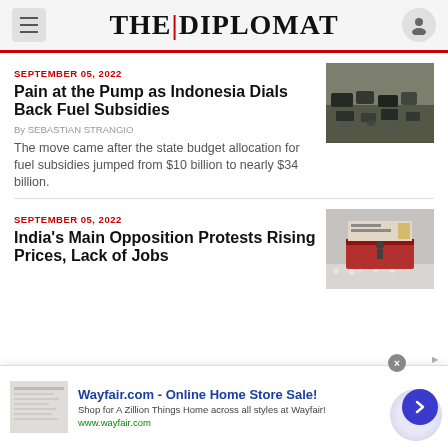THE DIPLOMAT
SEPTEMBER 05, 2022
Pain at the Pump as Indonesia Dials Back Fuel Subsidies
By SEBASTIAN STRANGIO
The move came after the state budget allocation for fuel subsidies jumped from $10 billion to nearly $34 billion.
[Figure (photo): Traffic jam with cars and motorcycles on an Indonesian road]
SEPTEMBER 05, 2022
India's Main Opposition Protests Rising Prices, Lack of Jobs
[Figure (photo): Political rally with a speaker at a podium and crowd in background]
Wayfair.com - Online Home Store Sale! Shop for A Zillion Things Home across all styles at Wayfair! www.wayfair.com